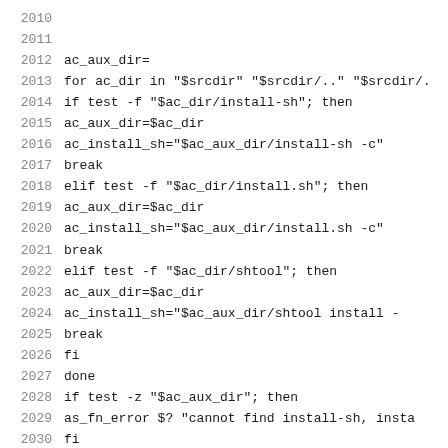Code listing lines 2010-2030: shell script snippet for finding ac_aux_dir
2010  (blank)
2011  (blank)
2012  ac_aux_dir=
2013  for ac_dir in "$srcdir" "$srcdir/.." "$srcdir/.
2014    if test -f "$ac_dir/install-sh"; then
2015      ac_aux_dir=$ac_dir
2016      ac_install_sh="$ac_aux_dir/install-sh -c"
2017      break
2018    elif test -f "$ac_dir/install.sh"; then
2019      ac_aux_dir=$ac_dir
2020      ac_install_sh="$ac_aux_dir/install.sh -c"
2021      break
2022    elif test -f "$ac_dir/shtool"; then
2023      ac_aux_dir=$ac_dir
2024      ac_install_sh="$ac_aux_dir/shtool install -
2025      break
2026    fi
2027  done
2028  if test -z "$ac_aux_dir"; then
2029    as_fn_error $? "cannot find install-sh, insta
2030  fi